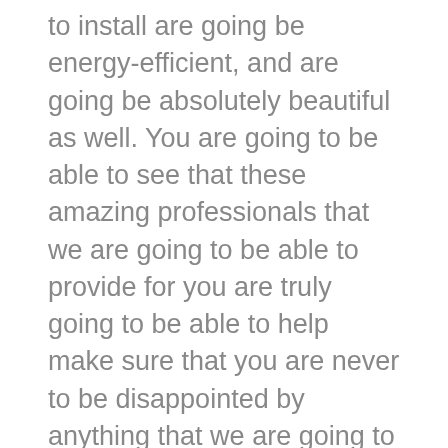to install are going be energy-efficient, and are going be absolutely beautiful as well. You are going to be able to see that these amazing professionals that we are going to be able to provide for you are truly going to be able to help make sure that you are never to be disappointed by anything that we are going to be able to provide today. We are going to be able to help show you that these windows will be of the perfect addition to your home.
We are then going to show you that we have the most amazing siding Companies Amarillo that is going to be also helping you with door replacement